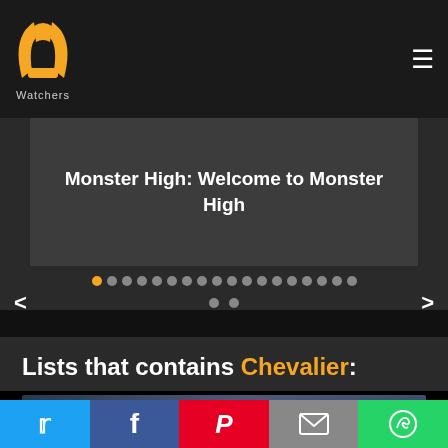PP Watchers logo with hamburger menu
[Figure (screenshot): Website slider showing Monster High: Welcome to Monster High with navigation dots and arrows]
Monster High: Welcome to Monster High
Lists that contains Chevalier:
[Figure (photo): Partial preview image of Chevalier movie/show thumbnail]
Social share buttons: Twitter, Facebook, Pinterest, Email, WhatsApp